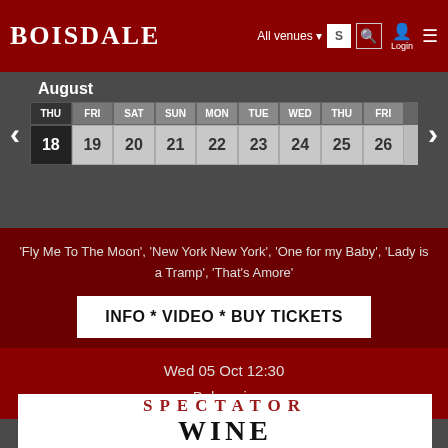BOISDALE
All venues
August
| THU | FRI | SAT | SUN | MON | TUE | WED | THU | FRI |
| --- | --- | --- | --- | --- | --- | --- | --- | --- |
| 18 | 19 | 20 | 21 | 22 | 23 | 24 | 25 | 26 |
'Fly Me To The Moon', 'New York New York', 'One for my Baby', 'Lady is a Tramp', 'That's Amore'
INFO * VIDEO * BUY TICKETS
Wed 05 Oct 12:30
Belgravia
[Figure (logo): Spectator Wine logo with red 'SPECTATOR' text and large black 'WINE' text below]